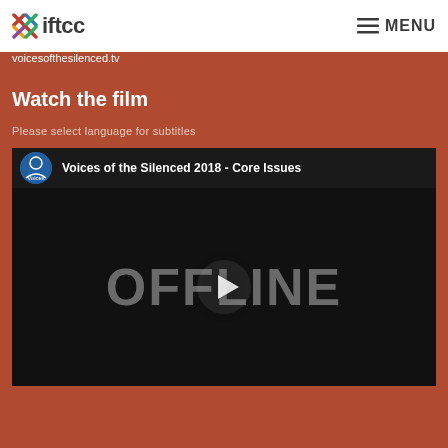iftcc  MENU
voicesofthesilenced.tv
Watch the film
Please select language for subtitles
[Figure (screenshot): Embedded video player showing 'Voices of the Silenced 2018 - Core Issues' with OFFLINE play button overlay on black background]